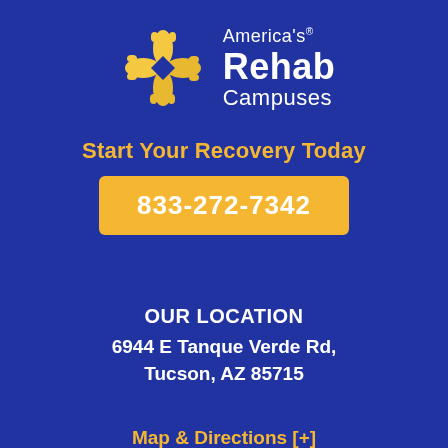[Figure (logo): America's Rehab Campuses logo: four hands clasped in a circle (yellow/gold illustrated hands) with the text 'America's Rehab Campuses' in white beside it]
Start Your Recovery Today
833-272-7342
OUR LOCATION
6944 E Tanque Verde Rd, Tucson, AZ 85715
Map & Directions [+]